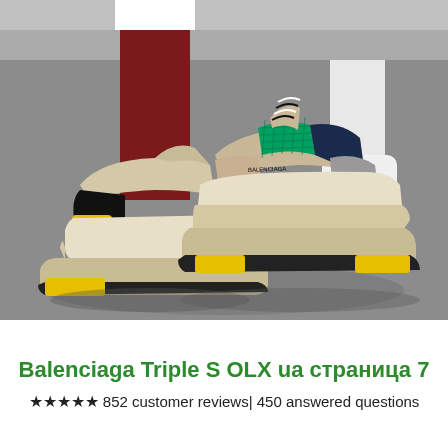[Figure (photo): Close-up street photo of two people wearing Balenciaga Triple S chunky sneakers. Left shoe has yellow, black, and beige coloring with a chunky layered sole. Right shoe faces forward with green mesh, tan suede, gray, and navy accents with black-and-white laces. Person on left wears dark red/maroon socks. Person on right wears white socks and white chunky sneakers. Background is a gray asphalt street.]
Balenciaga Triple S OLX ua страница 7
★★★★★ 852 customer reviews| 450 answered questions